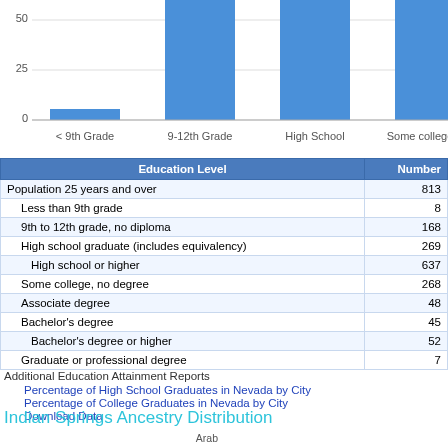[Figure (bar-chart): Education Level Distribution]
| Education Level | Number |
| --- | --- |
| Population 25 years and over | 813 |
| Less than 9th grade | 8 |
| 9th to 12th grade, no diploma | 168 |
| High school graduate (includes equivalency) | 269 |
| High school or higher | 637 |
| Some college, no degree | 268 |
| Associate degree | 48 |
| Bachelor's degree | 45 |
| Bachelor's degree or higher | 52 |
| Graduate or professional degree | 7 |
Additional Education Attainment Reports
Percentage of High School Graduates in Nevada by City
Percentage of College Graduates in Nevada by City
Download Data
Indian Springs Ancestry Distribution
[Figure (bar-chart): Indian Springs Ancestry Distribution]